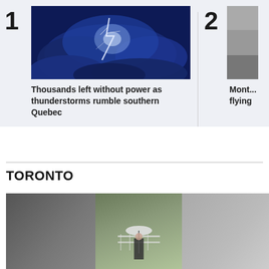1
[Figure (photo): Lightning strike in dark blue stormy clouds at night]
Thousands left without power as thunderstorms rumble southern Quebec
2
[Figure (photo): Partial view of a dark grey scene, second article image]
Mont... flying
TORONTO
[Figure (photo): Person with umbrella in rainy weather in Toronto]